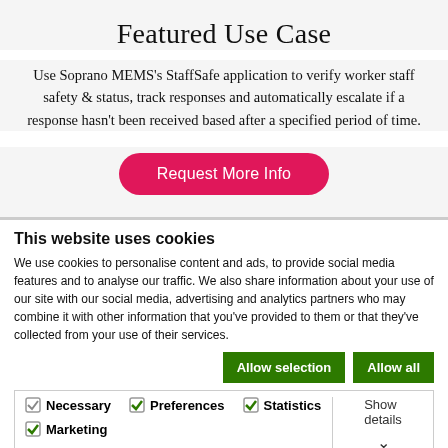Featured Use Case
Use Soprano MEMS's StaffSafe application to verify worker staff safety & status, track responses and automatically escalate if a response hasn't been received based after a specified period of time.
Request More Info
This website uses cookies
We use cookies to personalise content and ads, to provide social media features and to analyse our traffic. We also share information about your use of our site with our social media, advertising and analytics partners who may combine it with other information that you've provided to them or that they've collected from your use of their services.
Allow selection | Allow all
Necessary | Preferences | Statistics | Marketing | Show details